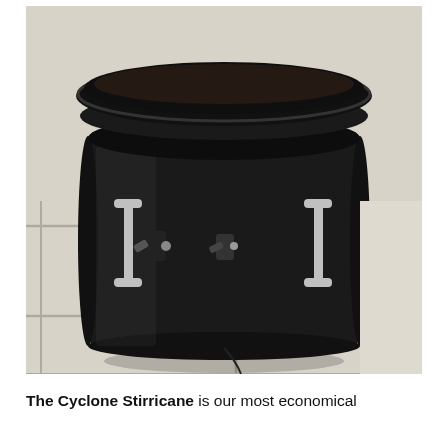[Figure (photo): A black cylindrical container (Cyclone Stirricane) with a black lid sitting on a light tiled floor. The container has two stainless steel handles and two black valve/tap fittings on the front.]
The Cyclone Stirricane is our most economical